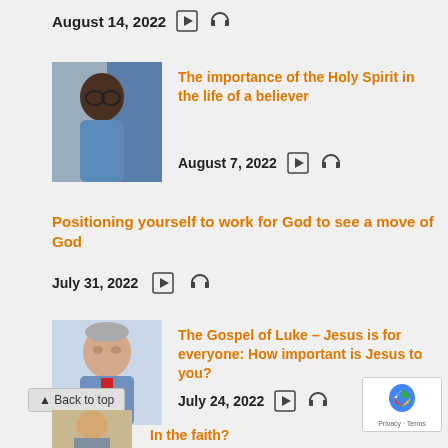August 14, 2022  ▶  🎧
[Figure (photo): Portrait photo of a woman wearing glasses]
The importance of the Holy Spirit in the life of a believer
August 7, 2022  ▶  🎧
Positioning yourself to work for God to see a move of God
July 31, 2022  ▶  🎧
[Figure (photo): Portrait photo of an older man in a blue shirt and red tie]
The Gospel of Luke – Jesus is for everyone: How important is Jesus to you?
July 24, 2022  ▶  🎧
▲ Back to top
In the faith?